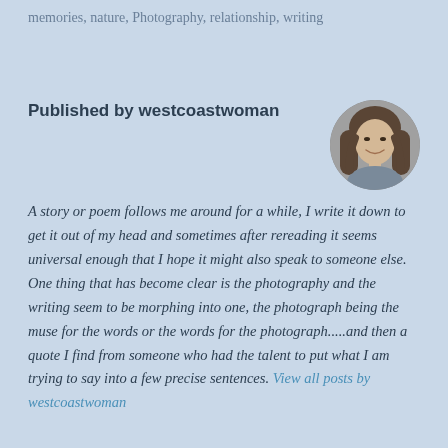memories, nature, Photography, relationship, writing
Published by westcoastwoman
[Figure (photo): Circular black and white portrait photo of a woman with long hair, smiling]
A story or poem follows me around for a while, I write it down to get it out of my head and sometimes after rereading it seems universal enough that I hope it might also speak to someone else. One thing that has become clear is the photography and the writing seem to be morphing into one, the photograph being the muse for the words or the words for the photograph.....and then a quote I find from someone who had the talent to put what I am trying to say into a few precise sentences. View all posts by westcoastwoman